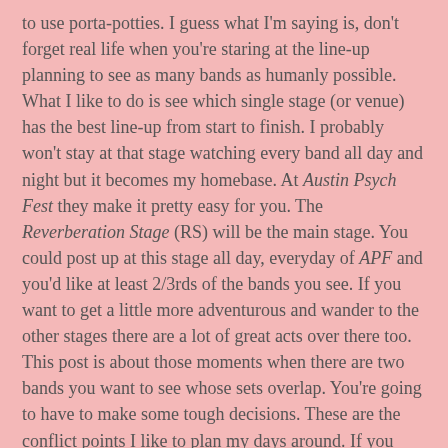to use porta-potties. I guess what I'm saying is, don't forget real life when you're staring at the line-up planning to see as many bands as humanly possible.
What I like to do is see which single stage (or venue) has the best line-up from start to finish. I probably won't stay at that stage watching every band all day and night but it becomes my homebase. At Austin Psych Fest they make it pretty easy for you. The Reverberation Stage (RS) will be the main stage. You could post up at this stage all day, everyday of APF and you'd like at least 2/3rds of the bands you see. If you want to get a little more adventurous and wander to the other stages there are a lot of great acts over there too.
This post is about those moments when there are two bands you want to see whose sets overlap. You're going to have to make some tough decisions. These are the conflict points I like to plan my days around. If you need to eat, drink, wander, or whatever don't do it at these times. Go see at least one of these two bands everyday.